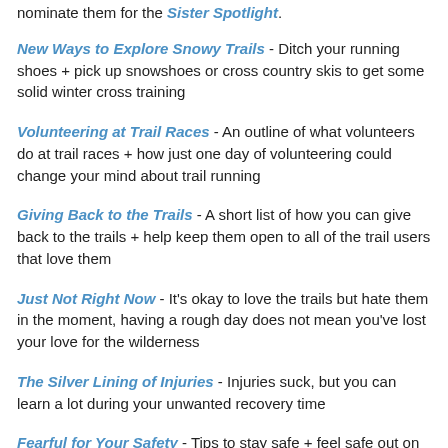nominate them for the Sister Spotlight.
New Ways to Explore Snowy Trails - Ditch your running shoes + pick up snowshoes or cross country skis to get some solid winter cross training
Volunteering at Trail Races - An outline of what volunteers do at trail races + how just one day of volunteering could change your mind about trail running
Giving Back to the Trails - A short list of how you can give back to the trails + help keep them open to all of the trail users that love them
Just Not Right Now - It's okay to love the trails but hate them in the moment, having a rough day does not mean you've lost your love for the wilderness
The Silver Lining of Injuries - Injuries suck, but you can learn a lot during your unwanted recovery time
Fearful for Your Safety - Tips to stay safe + feel safe out on the trails [group effort, multiple contributors]